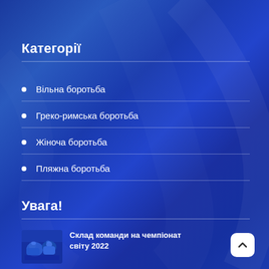Категорії
Вільна боротьба
Греко-римська боротьба
Жіноча боротьба
Пляжна боротьба
Увага!
[Figure (photo): Thumbnail image of wrestling athletes]
Склад команди на чемпіонат світу 2022